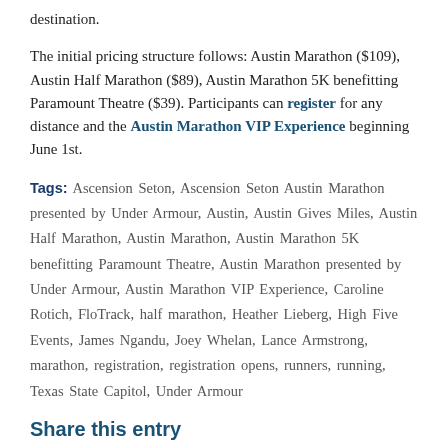destination.
The initial pricing structure follows: Austin Marathon ($109), Austin Half Marathon ($89), Austin Marathon 5K benefitting Paramount Theatre ($39). Participants can register for any distance and the Austin Marathon VIP Experience beginning June 1st.
Tags: Ascension Seton, Ascension Seton Austin Marathon presented by Under Armour, Austin, Austin Gives Miles, Austin Half Marathon, Austin Marathon, Austin Marathon 5K benefitting Paramount Theatre, Austin Marathon presented by Under Armour, Austin Marathon VIP Experience, Caroline Rotich, FloTrack, half marathon, Heather Lieberg, High Five Events, James Ngandu, Joey Whelan, Lance Armstrong, marathon, registration, registration opens, runners, running, Texas State Capitol, Under Armour
Share this entry
[Figure (other): Social share bar with icons for Facebook, Twitter, WhatsApp, Reddit, and Email]